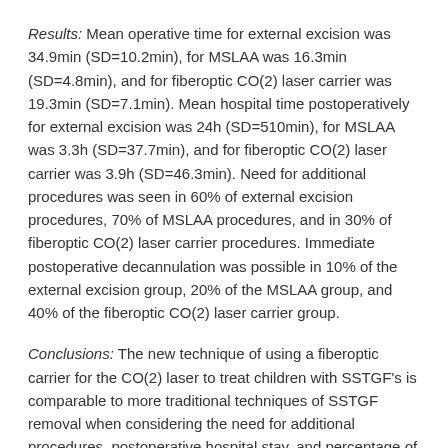Results: Mean operative time for external excision was 34.9min (SD=10.2min), for MSLAA was 16.3min (SD=4.8min), and for fiberoptic CO(2) laser carrier was 19.3min (SD=7.1min). Mean hospital time postoperatively for external excision was 24h (SD=510min), for MSLAA was 3.3h (SD=37.7min), and for fiberoptic CO(2) laser carrier was 3.9h (SD=46.3min). Need for additional procedures was seen in 60% of external excision procedures, 70% of MSLAA procedures, and in 30% of fiberoptic CO(2) laser carrier procedures. Immediate postoperative decannulation was possible in 10% of the external excision group, 20% of the MSLAA group, and 40% of the fiberoptic CO(2) laser carrier group.
Conclusions: The new technique of using a fiberoptic carrier for the CO(2) laser to treat children with SSTGF's is comparable to more traditional techniques of SSTGF removal when considering the need for additional procedures, postoperative hospital stay, and percentage of immediate postoperative decannulation and provides another useful tool in the armamentarium of the surgeon in treating SSTGF's.